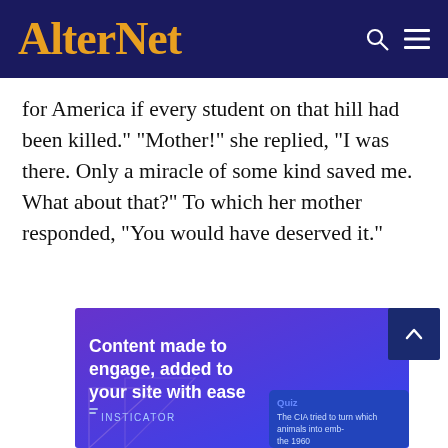AlterNet
for America if every student on that hill had been killed." "Mother!" she replied, "I was there. Only a miracle of some kind saved me. What about that?" To which her mother responded, "You would have deserved it."
[Figure (screenshot): Advertisement banner with purple/blue gradient background. Text reads: 'Content made to engage, added to your site with ease' with INSTICATOR branding logo and a quiz widget showing 'The CIA tried to turn which animals into emb-']